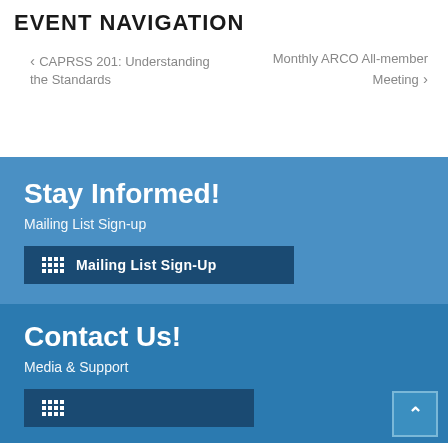EVENT NAVIGATION
< CAPRSS 201: Understanding the Standards
Monthly ARCO All-member Meeting >
Stay Informed!
Mailing List Sign-up
Mailing List Sign-Up
Contact Us!
Media & Support